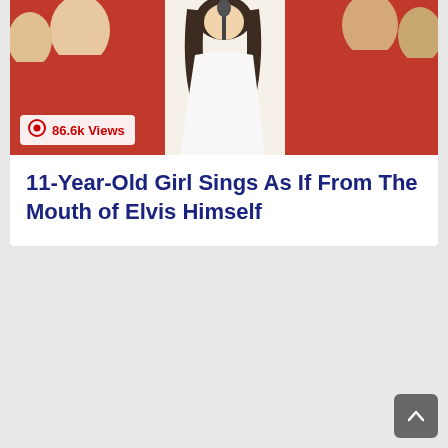[Figure (photo): Photo of an 11-year-old girl singing into a microphone on stage, wearing a white outfit, with people in red shirts in the background. View count badge shows 86.6k Views.]
11-Year-Old Girl Sings As If From The Mouth of Elvis Himself